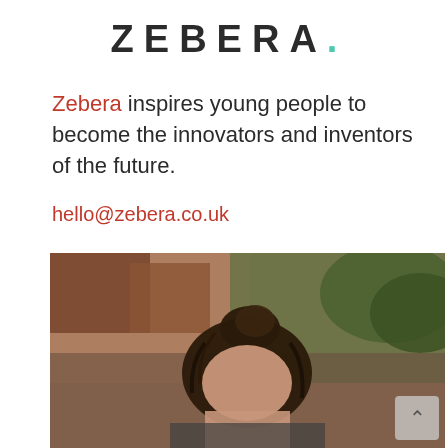ZEBERA.
Zebera inspires young people to become the innovators and inventors of the future.
hello@zebera.co.uk
[Figure (photo): Photo of a young person with dark hair pulled up, outdoors with blurred brown and green background. A scroll-up button is visible in the bottom right corner.]